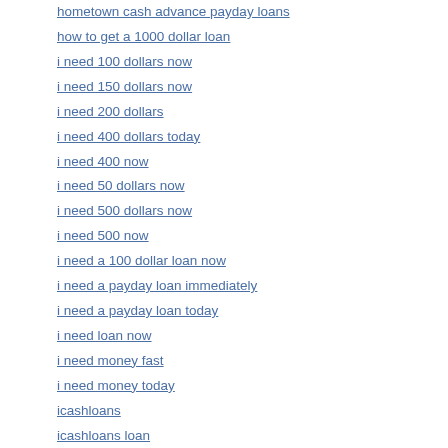hometown cash advance payday loans
how to get a 1000 dollar loan
i need 100 dollars now
i need 150 dollars now
i need 200 dollars
i need 400 dollars today
i need 400 now
i need 50 dollars now
i need 500 dollars now
i need 500 now
i need a 100 dollar loan now
i need a payday loan immediately
i need a payday loan today
i need loan now
i need money fast
i need money today
icashloans
icashloans loan